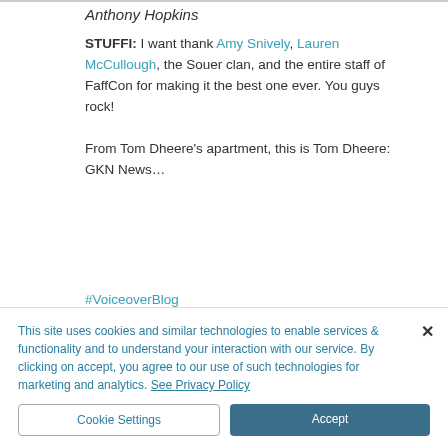Anthony Hopkins
STUFFI: I want thank Amy Snively, Lauren McCullough, the Souer clan, and the entire staff of FaffCon for making it the best one ever. You guys rock!
From Tom Dheere's apartment, this is Tom Dheere: GKN News…
#VoiceoverBlog
MARKETING
[Figure (infographic): Row of social share icons: Facebook, Twitter, LinkedIn, chain/link]
This site uses cookies and similar technologies to enable services & functionality and to understand your interaction with our service. By clicking on accept, you agree to our use of such technologies for marketing and analytics. See Privacy Policy
Cookie Settings
Accept